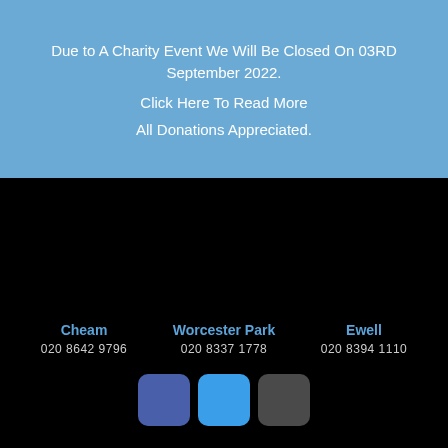Due to A Charity Event We Will Be Closed On 03RD September 2022.
Click Here To Read More
All Donations Appreciated.
Cheam
020 8642 9796
Worcester Park
020 8337 1778
Ewell
020 8394 1110
[Figure (other): Three social media icon buttons in a row: Facebook (dark blue/purple), Twitter (bright blue), Google+ or similar (dark grey), each with rounded corners on a black background]